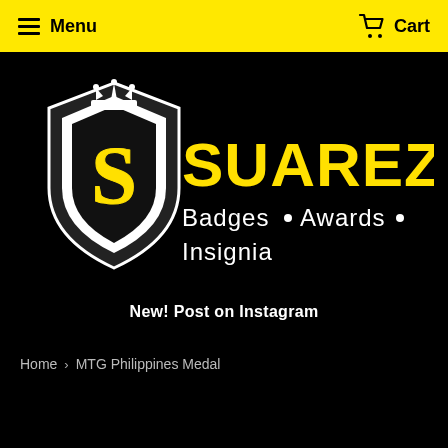Menu  Cart
[Figure (logo): SuarezArts logo with shield emblem containing letter S with crown, yellow and white on black background. Text reads SUAREZARTS with tagline Badges • Awards • Insignia]
New! Post on Instagram
Home › MTG Philippines Medal